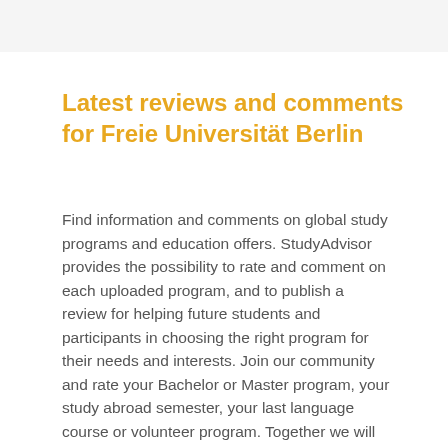Latest reviews and comments for Freie Universität Berlin
Find information and comments on global study programs and education offers. StudyAdvisor provides the possibility to rate and comment on each uploaded program, and to publish a review for helping future students and participants in choosing the right program for their needs and interests. Join our community and rate your Bachelor or Master program, your study abroad semester, your last language course or volunteer program. Together we will grow!